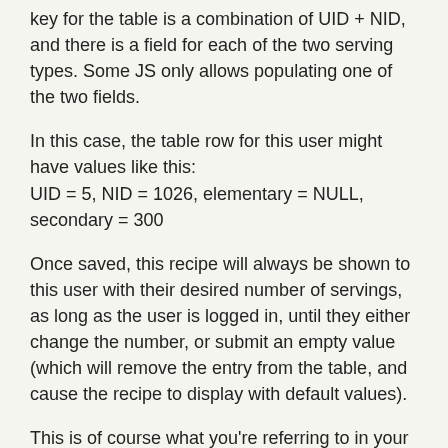key for the table is a combination of UID + NID, and there is a field for each of the two serving types. Some JS only allows populating one of the two fields.
In this case, the table row for this user might have values like this:
UID = 5, NID = 1026, elementary = NULL, secondary = 300
Once saved, this recipe will always be shown to this user with their desired number of servings, as long as the user is logged in, until they either change the number, or submit an empty value (which will remove the entry from the table, and cause the recipe to display with default values).
This is of course what you're referring to in your last sentence about using a module owned table, but I guess I don't see a reason ever to do this in the other